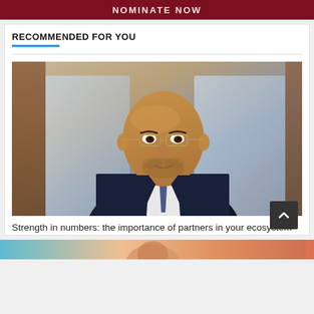[Figure (other): Dark red banner with white uppercase text 'NOMINATE NOW']
RECOMMENDED FOR YOU
[Figure (photo): Professional headshot of a bald man with glasses wearing a dark navy suit and blue tie, with a blurred indoor background]
Strength in numbers: the importance of partners in your ecosystem
[Figure (photo): Partial view of a colorful image at the bottom of the page]